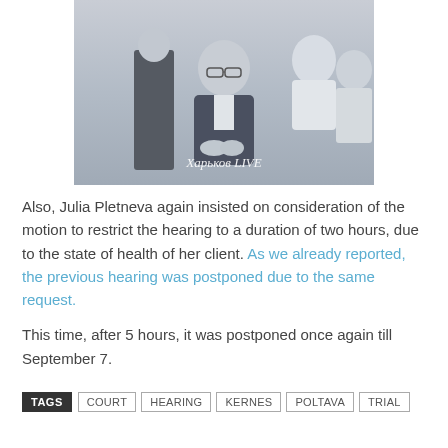[Figure (photo): A man in a dark suit with glasses seated in what appears to be a courtroom or official setting, with other people visible in the background. Watermark text reads 'Харьков LIVE'.]
Also, Julia Pletneva again insisted on consideration of the motion to restrict the hearing to a duration of two hours, due to the state of health of her client. As we already reported, the previous hearing was postponed due to the same request.
This time, after 5 hours, it was postponed once again till September 7.
TAGS  COURT  HEARING  KERNES  POLTAVA  TRIAL